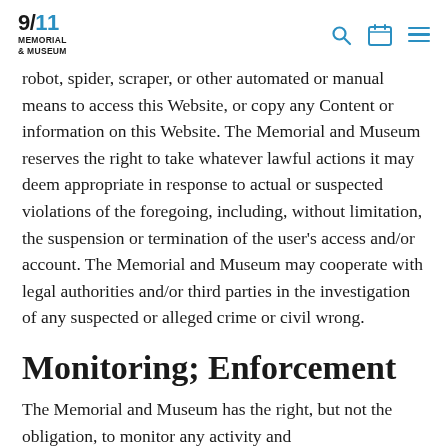9/11 MEMORIAL & MUSEUM
robot, spider, scraper, or other automated or manual means to access this Website, or copy any Content or information on this Website. The Memorial and Museum reserves the right to take whatever lawful actions it may deem appropriate in response to actual or suspected violations of the foregoing, including, without limitation, the suspension or termination of the user's access and/or account. The Memorial and Museum may cooperate with legal authorities and/or third parties in the investigation of any suspected or alleged crime or civil wrong.
Monitoring; Enforcement
The Memorial and Museum has the right, but not the obligation, to monitor any activity and